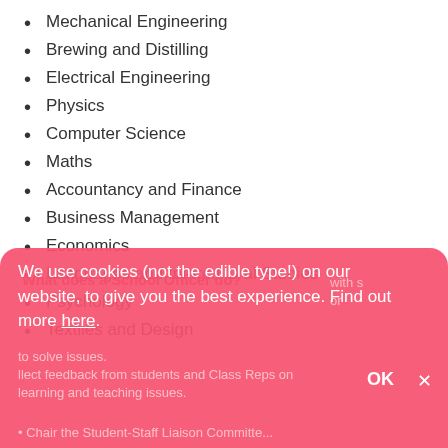Mechanical Engineering
Brewing and Distilling
Electrical Engineering
Physics
Computer Science
Maths
Accountancy and Finance
Business Management
Economics
Languages and Intercultural Studies
Psychology
Textiles and Design
What does a School Officer do?
We use cookies (not the edible type!) on our website, to give you the best experience. Find out more here.
...with students or...to solve issues...collect feedback from students and Class Reps on learning and teaching issues.
Chair the Student-Staff Liaison Committee...